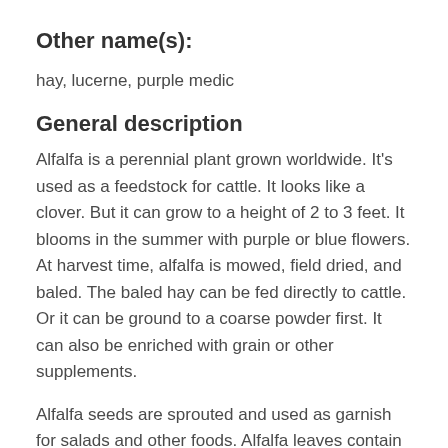Other name(s):
hay, lucerne, purple medic
General description
Alfalfa is a perennial plant grown worldwide. It's used as a feedstock for cattle. It looks like a clover. But it can grow to a height of 2 to 3 feet. It blooms in the summer with purple or blue flowers. At harvest time, alfalfa is mowed, field dried, and baled. The baled hay can be fed directly to cattle. Or it can be ground to a coarse powder first. It can also be enriched with grain or other supplements.
Alfalfa seeds are sprouted and used as garnish for salads and other foods. Alfalfa leaves contain triterpenoid saponins (soyasapogenols). These can